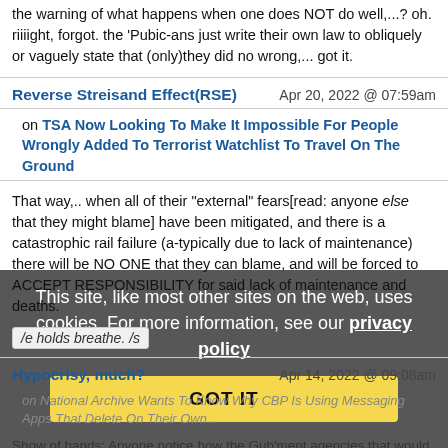the warning of what happens when one does NOT do well,...? oh. riiiight, forgot. the 'Pubic-ans just write their own law to obliquely or vaguely state that (only)they did no wrong,... got it.
Reverse Streisand Effect(RSE)
Apr 20, 2022 @ 07:59am
on TSA Now Looking To Make It Impossible For People Wrongly Added To Terrorist Watchlist To Travel On The Ground
That way,.. when all of their "external" fears[read: anyone else that they might blame] have been mitigated, and there is a catastrophic rail failure (a-typically due to lack of maintenance) there will be NO ONE that they can blame, and will be forced to ACCEPT RESPONSIBILITY for said lack of maintenance and deaths.
/e holds breathe. /s
Hypocrisy, much?
Apr 14, 2022 @ 09:08am
on National Archive Wants To Know Why CBP Is Using Messaging Apps That Delete On Their Own...
Show of hands: Anyone notice how the Gub'ment agencies that would BENEFIT from everyone to do record keeping the most are hamstrung, lobotomized, and/or regulated. Yet, other agencies have UNLIMITED budgets to do exactly the same record keeping as well
This site, like most other sites on the web, uses cookies. For more information, see our privacy policy
GOT IT